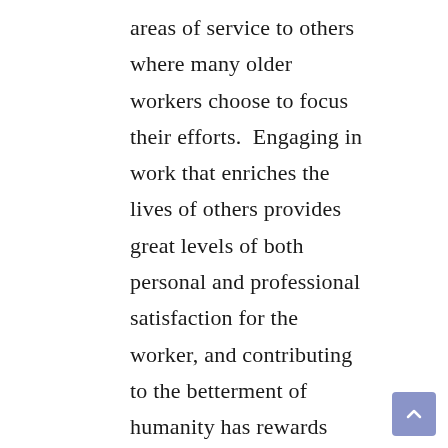areas of service to others where many older workers choose to focus their efforts.  Engaging in work that enriches the lives of others provides great levels of both personal and professional satisfaction for the worker, and contributing to the betterment of humanity has rewards beyond measure.
Today, the observance of Rev. Dr. Martin Luther King, Jr.'s birthday is a national day of service.  We are encouraged to dedicate our time and efforts in service: to our communities, to those less fortunate, to those who